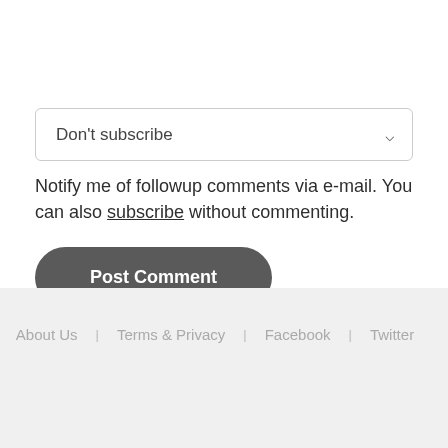Don't subscribe
Notify me of followup comments via e-mail. You can also subscribe without commenting.
Post Comment
About Us   Terms & Privacy   Facebook   Twitter